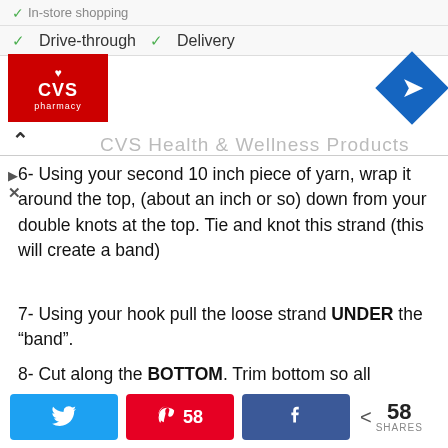[Figure (screenshot): Ad banner showing CVS Pharmacy logo, navigation/map icon, check marks for Drive-through and Delivery options, and CVS Health & Wellness Products text]
6- Using your second 10 inch piece of yarn, wrap it around the top, (about an inch or so) down from your double knots at the top. Tie and knot this strand (this will create a band)
7- Using your hook pull the loose strand UNDER the “band”.
8- Cut along the BOTTOM. Trim bottom so all strands are the same length.
[Figure (screenshot): Social sharing buttons: Twitter (blue), Pinterest (red, 58 count), Facebook (blue), and share count showing 58 SHARES]